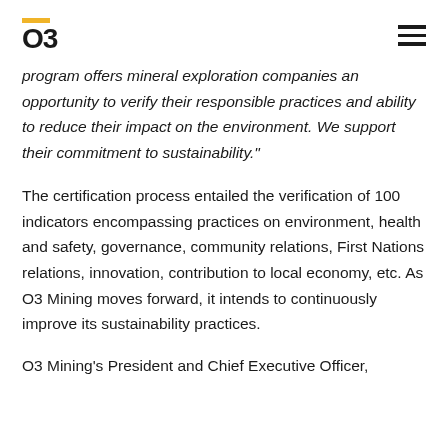O3
program offers mineral exploration companies an opportunity to verify their responsible practices and ability to reduce their impact on the environment. We support their commitment to sustainability."
The certification process entailed the verification of 100 indicators encompassing practices on environment, health and safety, governance, community relations, First Nations relations, innovation, contribution to local economy, etc. As O3 Mining moves forward, it intends to continuously improve its sustainability practices.
O3 Mining's President and Chief Executive Officer,